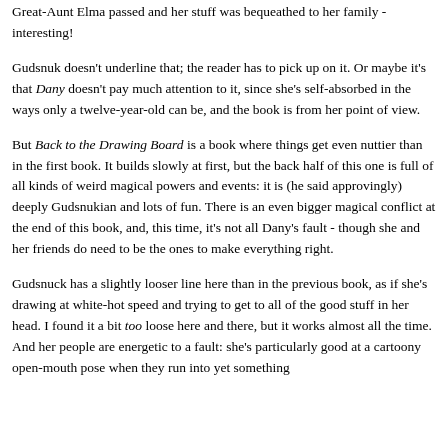Great-Aunt Elma passed and her stuff was bequeathed to her family - interesting!
Gudsnuk doesn't underline that; the reader has to pick up on it. Or maybe it's that Dany doesn't pay much attention to it, since she's self-absorbed in the ways only a twelve-year-old can be, and the book is from her point of view.
But Back to the Drawing Board is a book where things get even nuttier than in the first book. It builds slowly at first, but the back half of this one is full of all kinds of weird magical powers and events: it is (he said approvingly) deeply Gudsnukian and lots of fun. There is an even bigger magical conflict at the end of this book, and, this time, it's not all Dany's fault - though she and her friends do need to be the ones to make everything right.
Gudsnuck has a slightly looser line here than in the previous book, as if she's drawing at white-hot speed and trying to get to all of the good stuff in her head. I found it a bit too loose here and there, but it works almost all the time. And her people are energetic to a fault: she's particularly good at a cartoony open-mouth pose when they run into yet something